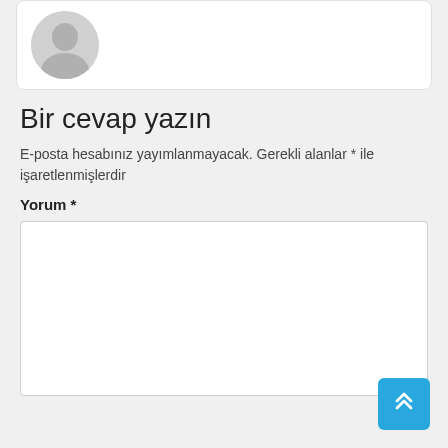[Figure (illustration): Partial view of a user profile card with a grey avatar/silhouette icon on white background with rounded corners]
Bir cevap yazın
E-posta hesabınız yayımlanmayacak. Gerekli alanlar * ile işaretlenmişlerdir
Yorum *
[Figure (screenshot): Empty white comment textarea input box]
[Figure (illustration): Blue scroll-to-top button with double chevron up arrow icon in bottom-right corner]